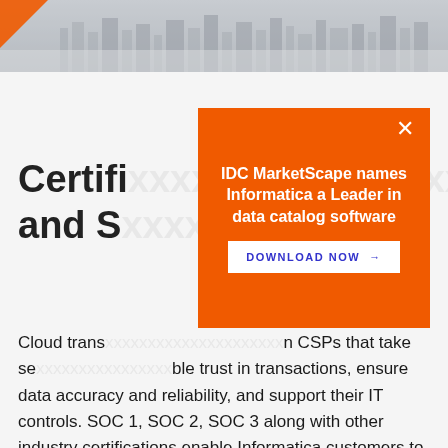[Figure (photo): City skyline header image with orange triangle accent on left side, gray tones]
Certifi...nts, and S...
Cloud trans... n CSPs that take se...ble trust in transactions, ensure data accuracy and reliability, and support their IT controls. SOC 1, SOC 2, SOC 3 along with other industry certifications enable Informatica customers to deliver accurate financial reports confidently to alleviate any regulatory pressures.
[Figure (screenshot): Orange popup overlay with white X close button, bold white text 'IDC MarketScape names Informatica a Leader in data catalog software', and a white 'DOWNLOAD NOW →' button]